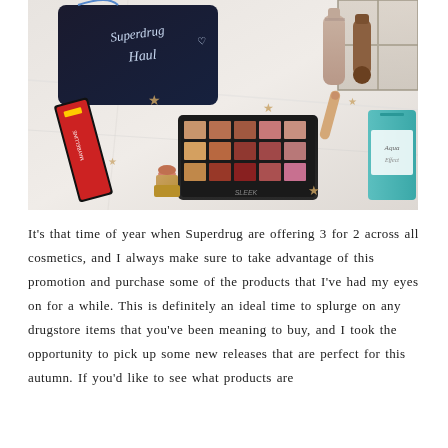[Figure (photo): Flat lay photo of drugstore cosmetics products on a marble surface including a Maybelline mascara box, an eyeshadow palette, lipstick, foundation bottles, a teal packaged product, and a dark bag with 'Superdrug Haul' written in script, decorated with rose gold star ornaments.]
It's that time of year when Superdrug are offering 3 for 2 across all cosmetics, and I always make sure to take advantage of this promotion and purchase some of the products that I've had my eyes on for a while. This is definitely an ideal time to splurge on any drugstore items that you've been meaning to buy, and I took the opportunity to pick up some new releases that are perfect for this autumn. If you'd like to see what products are